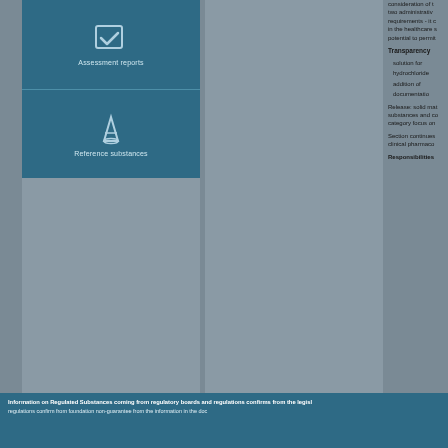[Figure (illustration): Blue panel with two icon sections: top section shows a checkmark/checkbox icon with label 'Assessment Reports', bottom section shows a laboratory flask/beaker icon with label 'Reference substances']
consideration of the two administrative requirements - it could be in the healthcare setting, potential to permit...
Transparency
solution for...
hydrochloride...
addition of...
documentation...
Release: solid material, substances and in category focus on...
Section continues: clinical pharmacokinetics...
Responsibilities...
Information on Regulated Substances coming from regulatory boards and regulations confirms from the legislation in the...